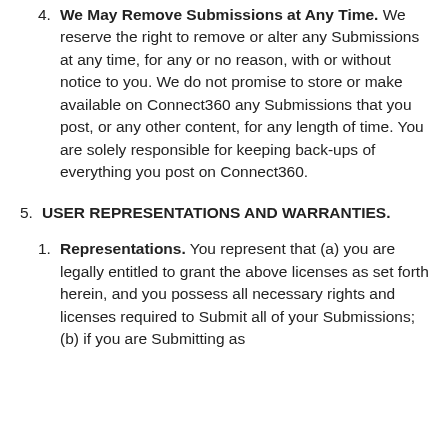4. We May Remove Submissions at Any Time. We reserve the right to remove or alter any Submissions at any time, for any or no reason, with or without notice to you. We do not promise to store or make available on Connect360 any Submissions that you post, or any other content, for any length of time. You are solely responsible for keeping back-ups of everything you post on Connect360.
5. USER REPRESENTATIONS AND WARRANTIES.
1. Representations. You represent that (a) you are legally entitled to grant the above licenses as set forth herein, and you possess all necessary rights and licenses required to Submit all of your Submissions; (b) if you are Submitting as an individual and if you are under (c) l